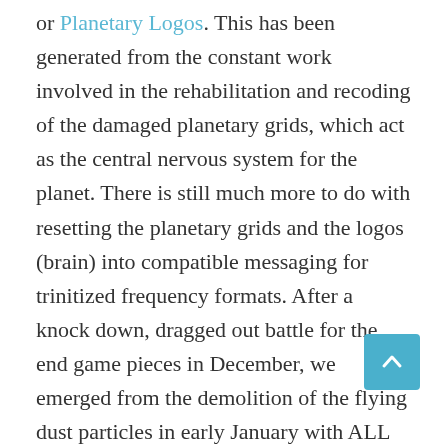or Planetary Logos. This has been generated from the constant work involved in the rehabilitation and recoding of the damaged planetary grids, which act as the central nervous system for the planet. There is still much more to do with resetting the planetary grids and the logos (brain) into compatible messaging for trinitized frequency formats. After a knock down, dragged out battle for the end game pieces in December, we emerged from the demolition of the flying dust particles in early January with ALL of those pieces. Those pieces began a re-assembly process that has been frenzied with many extra dimensional and multidimensional humans acting as conduits in the end game. This was to allow the Liquid Krystal Forces and current to wash through the many